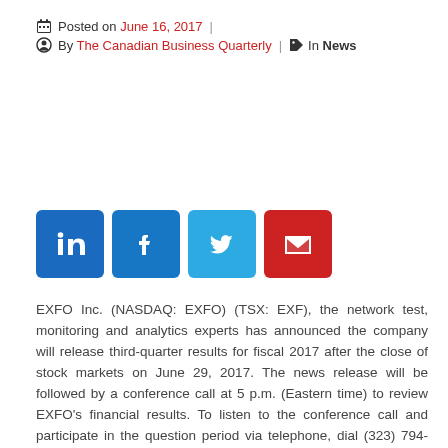Posted on June 16, 2017 | By The Canadian Business Quarterly | In News
[Figure (infographic): Social sharing buttons: LinkedIn, Facebook, Twitter, Email]
EXFO Inc. (NASDAQ: EXFO) (TSX: EXF), the network test, monitoring and analytics experts has announced the company will release third-quarter results for fiscal 2017 after the close of stock markets on June 29, 2017. The news release will be followed by a conference call at 5 p.m. (Eastern time) to review EXFO’s financial results. To listen to the conference call and participate in the question period via telephone, dial (323) 794-2093. Please take note of the required participant passcode: 1063188.